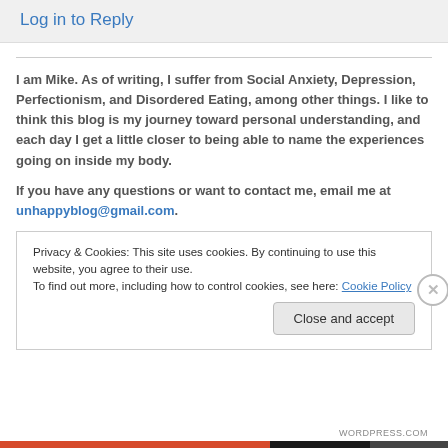Log in to Reply
I am Mike. As of writing, I suffer from Social Anxiety, Depression, Perfectionism, and Disordered Eating, among other things. I like to think this blog is my journey toward personal understanding, and each day I get a little closer to being able to name the experiences going on inside my body.
If you have any questions or want to contact me, email me at unhappyblog@gmail.com.
Privacy & Cookies: This site uses cookies. By continuing to use this website, you agree to their use. To find out more, including how to control cookies, see here: Cookie Policy
Close and accept